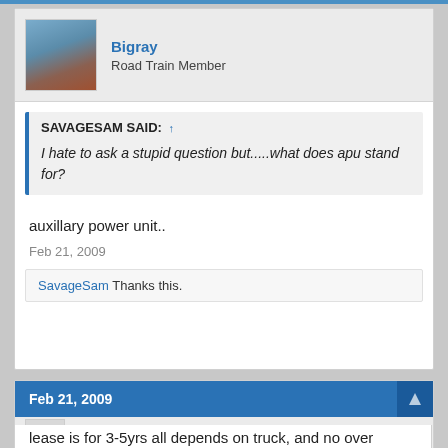Bigray
Road Train Member
SAVAGESAM SAID: ↑
I hate to ask a stupid question but.....what does apu stand for?
auxillary power unit..
Feb 21, 2009
SavageSam Thanks this.
Feb 21, 2009
bigorangefan9999
Light Load Member
lease is for 3-5yrs all depends on truck, and no over